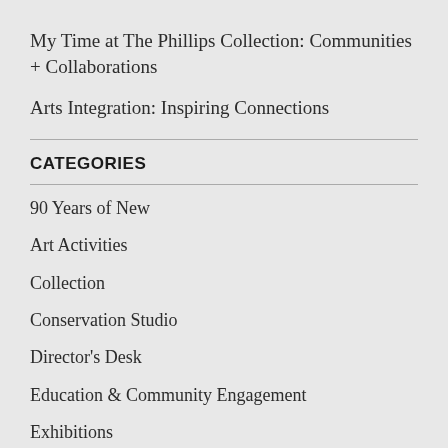My Time at The Phillips Collection: Communities + Collaborations
Arts Integration: Inspiring Connections
CATEGORIES
90 Years of New
Art Activities
Collection
Conservation Studio
Director's Desk
Education & Community Engagement
Exhibitions